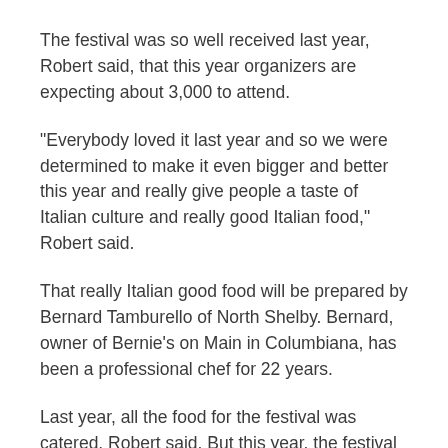The festival was so well received last year, Robert said, that this year organizers are expecting about 3,000 to attend.
"Everybody loved it last year and so we were determined to make it even bigger and better this year and really give people a taste of Italian culture and really good Italian food," Robert said.
That really Italian good food will be prepared by Bernard Tamburello of North Shelby. Bernard, owner of Bernie's on Main in Columbiana, has been a professional chef for 22 years.
Last year, all the food for the festival was catered, Robert said. But this year, the festival committee wanted to have the food prepared on site.